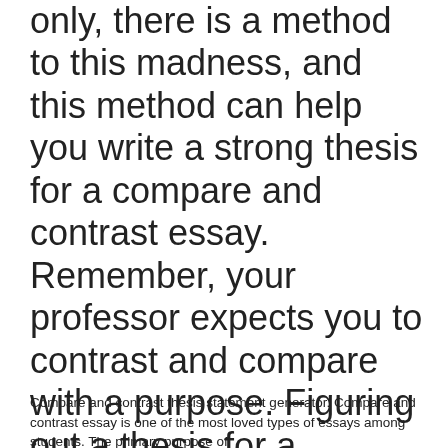only, there is a method to this madness, and this method can help you write a strong thesis for a compare and contrast essay. Remember, your professor expects you to contrast and compare with a purpose. Figuring out a thesis for a compare and contrast essay. Coming up with a great thesis statement is associated with a great deal of preparatory ...
Compare and contrast thesis statement generator. Compare and contrast essay is one of the most loved types of essays among students. The primary purpose of